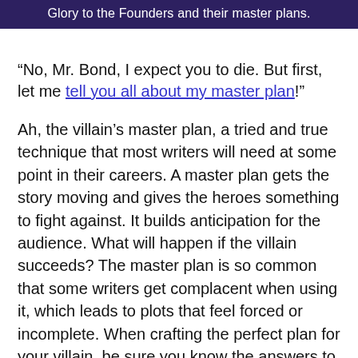Glory to the Founders and their master plans.
“No, Mr. Bond, I expect you to die. But first, let me tell you all about my master plan!”
Ah, the villain’s master plan, a tried and true technique that most writers will need at some point in their careers. A master plan gets the story moving and gives the heroes something to fight against. It builds anticipation for the audience. What will happen if the villain succeeds? The master plan is so common that some writers get complacent when using it, which leads to plots that feel forced or incomplete. When crafting the perfect plan for your villain, be sure you know the answers to these five questions so that your villain may twirl their